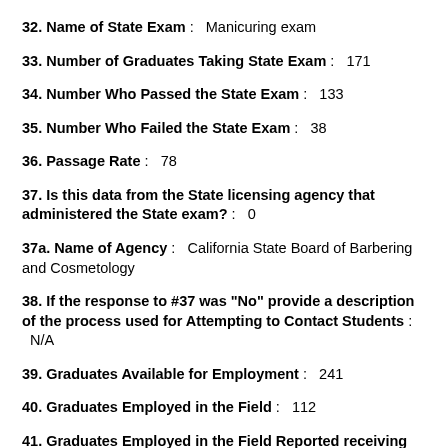32. Name of State Exam: Manicuring exam
33. Number of Graduates Taking State Exam: 171
34. Number Who Passed the State Exam: 133
35. Number Who Failed the State Exam: 38
36. Passage Rate: 78
37. Is this data from the State licensing agency that administered the State exam?: 0
37a. Name of Agency: California State Board of Barbering and Cosmetology
38. If the response to #37 was "No" provide a description of the process used for Attempting to Contact Students: N/A
39. Graduates Available for Employment: 241
40. Graduates Employed in the Field: 112
41. Graduates Employed in the Field Reported receiving